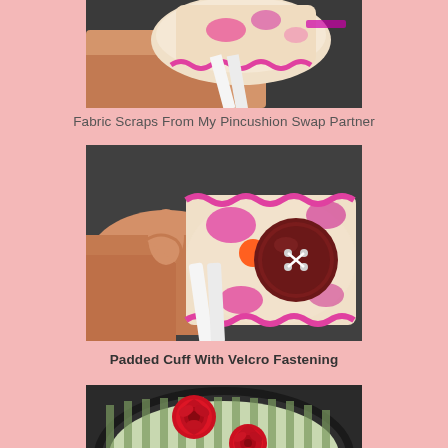[Figure (photo): Close-up of a hand holding a handmade pincushion wrist cuff with pink and floral fabric, pink ric-rac trim, and a white ribbon, partially cropped at top of page]
Fabric Scraps From My Pincushion Swap Partner
[Figure (photo): Hand holding a handmade pincushion wrist cuff with pink and cream fabric, pink zig-zag trim, orange button accent, large dark red/brown button with white cross stitching, and white ribbon ties, on grey background]
Padded Cuff With Velcro Fastening
[Figure (photo): Close-up of a handmade pincushion with green and white striped fabric, decorated with two red satin ribbon roses, partially cropped at bottom of page]